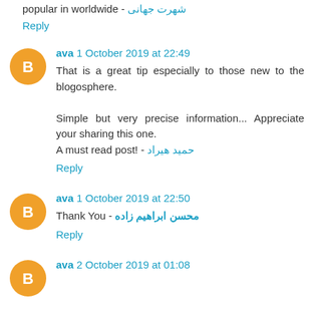popular in worldwide - شهرت جهانی
Reply
ava 1 October 2019 at 22:49
That is a great tip especially to those new to the blogosphere.

Simple but very precise information... Appreciate your sharing this one.
A must read post! - حمید هیراد
Reply
ava 1 October 2019 at 22:50
Thank You - محسن ابراهیم زاده
Reply
ava 2 October 2019 at 01:08